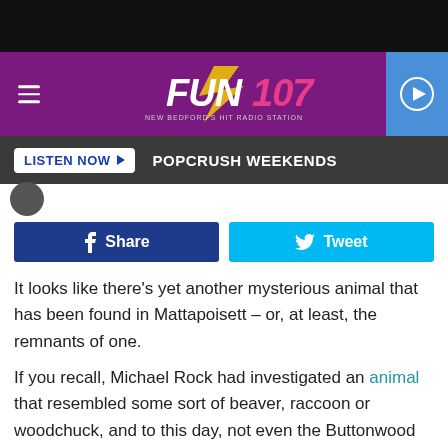[Figure (screenshot): Black top bar of mobile browser]
[Figure (logo): FUN 107 radio station header banner with purple background, hamburger menu, FUN107 logo, and blue play button]
[Figure (infographic): Dark grey listen bar with LISTEN NOW button and POPCRUSH WEEKENDS text]
[Figure (infographic): Social share buttons: Facebook Share and Twitter Tweet]
It looks like there's yet another mysterious animal that has been found in Mattapoisett – or, at least, the remnants of one.
If you recall, Michael Rock had investigated an animal that resembled some sort of beaver, raccoon or woodchuck, and to this day, not even the Buttonwood Park Zoo could tell us what it was with 100 percent confidence.